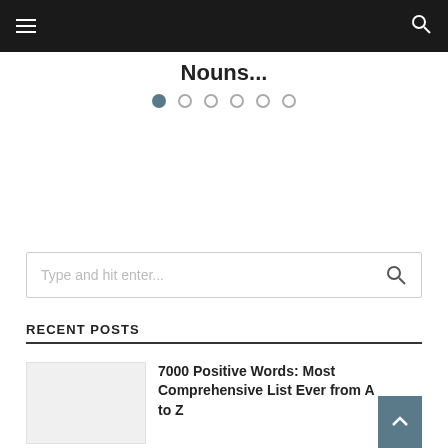Navigation bar with hamburger menu and search icon
Nouns...
[Figure (other): Carousel pagination dots, 6 total, first one active/filled]
[Figure (other): Search input box with placeholder text 'Type and hit enter...' and search icon]
RECENT POSTS
[Figure (other): Thumbnail image placeholder (light gray box)]
7000 Positive Words: Most Comprehensive List Ever from A to Z